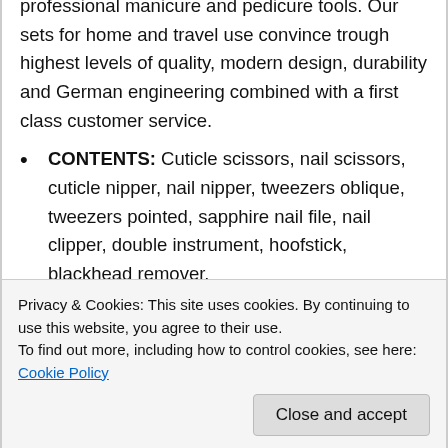professional manicure and pedicure tools. Our sets for home and travel use convince trough highest levels of quality, modern design, durability and German engineering combined with a first class customer service.
CONTENTS: Cuticle scissors, nail scissors, cuticle nipper, nail nipper, tweezers oblique, tweezers pointed, sapphire nail file, nail clipper, double instrument, hoofstick, blackhead remover.
STEEL IMPLEMENTS: Hand made, bright nickel plated (protection against corrosion), polished and hardened. All cases come in an attractive gift box. Instruments are made by 3
Privacy & Cookies: This site uses cookies. By continuing to use this website, you agree to their use.
To find out more, including how to control cookies, see here: Cookie Policy